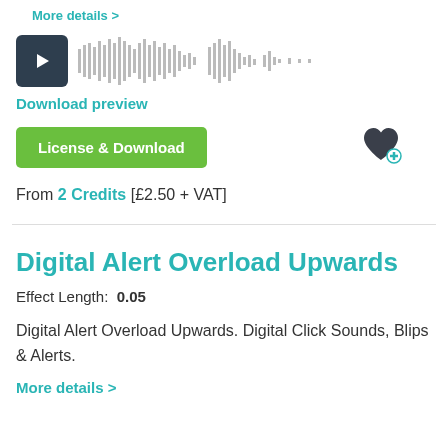More details >
[Figure (screenshot): Audio player with play button (dark square) and waveform visualization in grey]
Download preview
License & Download
From 2 Credits [£2.50 + VAT]
Digital Alert Overload Upwards
Effect Length:  0.05
Digital Alert Overload Upwards. Digital Click Sounds, Blips & Alerts.
More details >